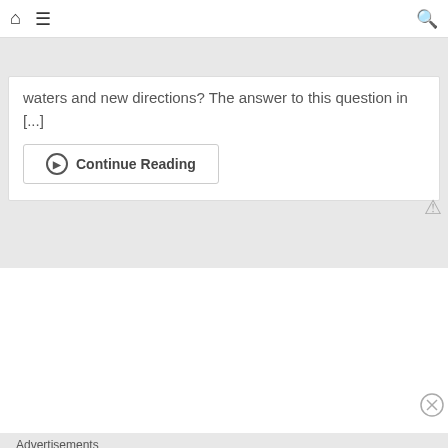Home | Menu | Search
waters and new directions? The answer to this question in [...]
Continue Reading
[Figure (other): White advertisement placeholder block with close button]
Advertisements
[Figure (other): Seamless food delivery advertisement banner with pizza image and ORDER NOW button]